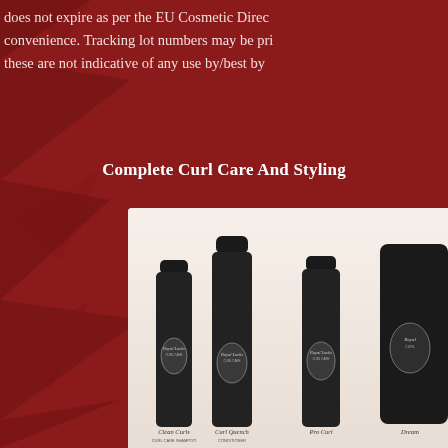does not expire as per the EU Cosmetic Direc... convenience. Tracking lot numbers may be pri... these are not indicative of any use by/best by
Complete Curl Care And Styling
[Figure (photo): Four Royal Locks Curl Care product bottles (Clean Curls, Curl Quench, Pro Curl, and Dream) arranged side by side on a beige/cream background. All bottles are matte black with silver oval logo labels.]